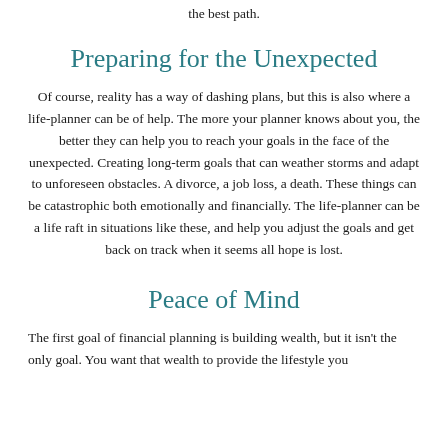the best path.
Preparing for the Unexpected
Of course, reality has a way of dashing plans, but this is also where a life-planner can be of help. The more your planner knows about you, the better they can help you to reach your goals in the face of the unexpected. Creating long-term goals that can weather storms and adapt to unforeseen obstacles. A divorce, a job loss, a death. These things can be catastrophic both emotionally and financially. The life-planner can be a life raft in situations like these, and help you adjust the goals and get back on track when it seems all hope is lost.
Peace of Mind
The first goal of financial planning is building wealth, but it isn't the only goal. You want that wealth to provide the lifestyle you